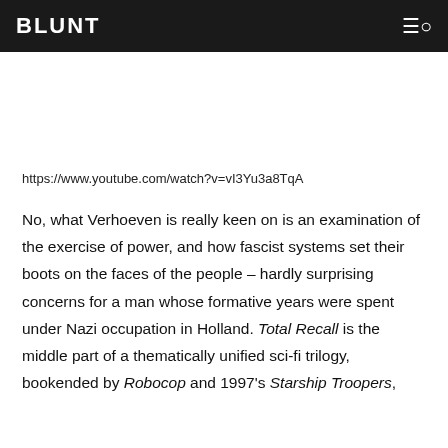BLUNT
https://www.youtube.com/watch?v=vI3Yu3a8TqA
No, what Verhoeven is really keen on is an examination of the exercise of power, and how fascist systems set their boots on the faces of the people – hardly surprising concerns for a man whose formative years were spent under Nazi occupation in Holland. Total Recall is the middle part of a thematically unified sci-fi trilogy, bookended by Robocop and 1997's Starship Troopers,